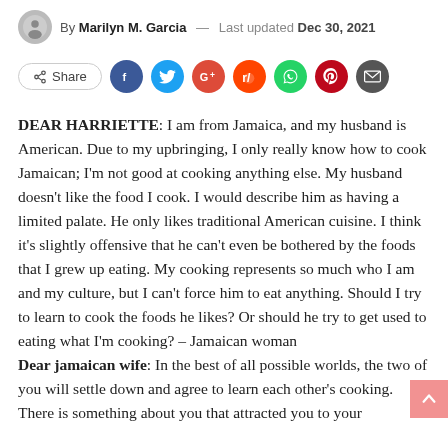By Marilyn M. Garcia — Last updated Dec 30, 2021
[Figure (infographic): Social share bar with Share button and icons for Facebook, Twitter, Google+, Reddit, WhatsApp, Pinterest, and Email]
DEAR HARRIETTE: I am from Jamaica, and my husband is American. Due to my upbringing, I only really know how to cook Jamaican; I'm not good at cooking anything else. My husband doesn't like the food I cook. I would describe him as having a limited palate. He only likes traditional American cuisine. I think it's slightly offensive that he can't even be bothered by the foods that I grew up eating. My cooking represents so much who I am and my culture, but I can't force him to eat anything. Should I try to learn to cook the foods he likes? Or should he try to get used to eating what I'm cooking? – Jamaican woman
Dear jamaican wife: In the best of all possible worlds, the two of you will settle down and agree to learn each other's cooking. There is something about you that attracted you to your